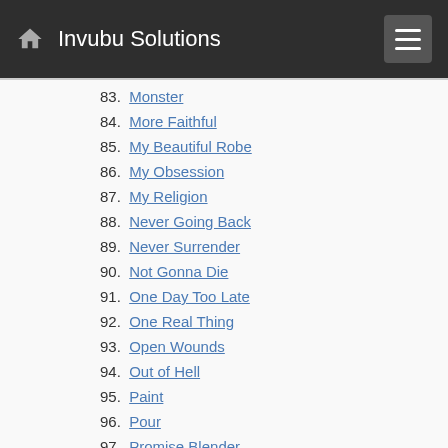Invubu Solutions
83. Monster
84. More Faithful
85. My Beautiful Robe
86. My Obsession
87. My Religion
88. Never Going Back
89. Never Surrender
90. Not Gonna Die
91. One Day Too Late
92. One Real Thing
93. Open Wounds
94. Out of Hell
95. Paint
96. Pour
97. Promise Blender
98. Reach
99. Rebirthing
100. Refuge